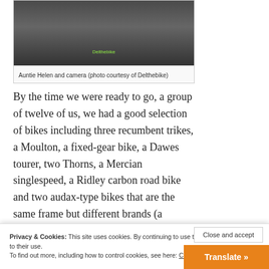[Figure (photo): A photo showing Auntie Helen and camera at what appears to be a cycling event, with bikes and people visible]
Auntie Helen and camera (photo courtesy of Delthebike)
By the time we were ready to go, a group of twelve of us, we had a good selection of bikes including three recumbent trikes, a Moulton, a fixed-gear bike, a Dawes tourer, two Thorns, a Mercian singlespeed, a Ridley carbon road bike and two audax-type bikes that are the same frame but different brands (a Hewitt Cheviot and a Byercycles Aravis).
[Figure (photo): A partial photo visible at the bottom of the page, appears to be another cycling event image]
Privacy & Cookies: This site uses cookies. By continuing to use this website, you agree to their use.
To find out more, including how to control cookies, see here: Cookie Policy
Close and accept
Translate »